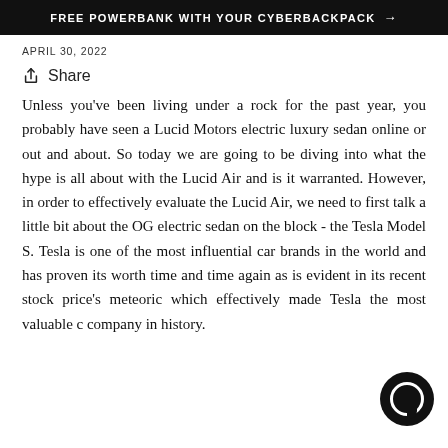FREE POWERBANK WITH YOUR CYBERBACKPACK →
APRIL 30, 2022
↑ Share
Unless you've been living under a rock for the past year, you probably have seen a Lucid Motors electric luxury sedan online or out and about. So today we are going to be diving into what the hype is all about with the Lucid Air and is it warranted. However, in order to effectively evaluate the Lucid Air, we need to first talk a little bit about the OG electric sedan on the block - the Tesla Model S. Tesla is one of the most influential car brands in the world and has proven its worth time and time again as is evident in its recent stock price's meteoric which effectively made Tesla the most valuable c company in history.